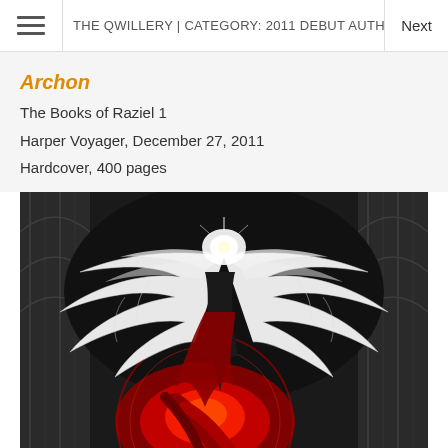THE QWILLERY | CATEGORY: 2011 DEBUT AUTHOR CHALLENGE   Next
Archon
The Books of Raziel 1
Harper Voyager, December 27, 2011
Hardcover, 400 pages
[Figure (photo): Book cover art for Archon: dark fantasy illustration featuring a winged angelic figure with large white wings spread wide, reaching toward a glowing light, set against gothic cathedral architecture. A swirling red vortex and a figure with flowing red hair appear in the lower portion. Monochromatic dark tones with dramatic red accent.]